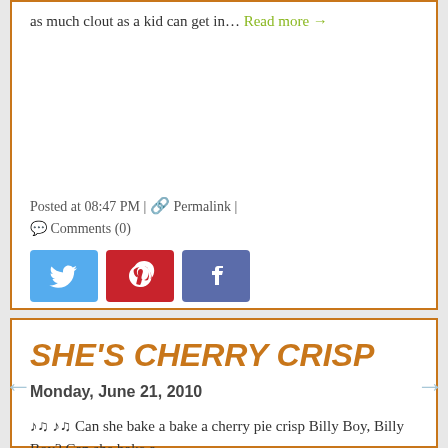as much clout as a kid can get in… Read more →
Posted at 08:47 PM | 🔗 Permalink | 💬 Comments (0)
[Figure (other): Social sharing buttons: Twitter (blue), Pinterest (red), Facebook (slate blue)]
SHE'S CHERRY CRISP
Monday, June 21, 2010
♪♫ ♪♫ Can she bake a bake a cherry pie crisp Billy Boy, Billy Boy? Can she bake a